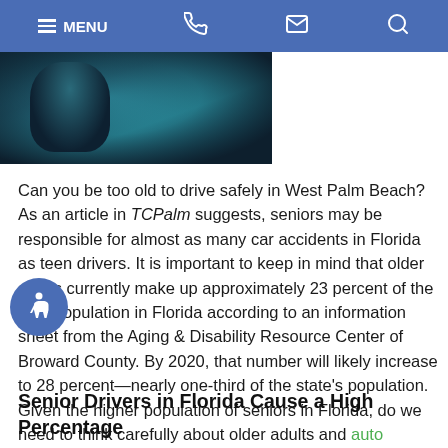MENU
[Figure (photo): Dark, moody photo of a person, partially visible, with teal/blue tones]
Can you be too old to drive safely in West Palm Beach? As an article in TCPalm suggests, seniors may be responsible for almost as many car accidents in Florida as teen drivers. It is important to keep in mind that older adults currently make up approximately 23 percent of the total population in Florida according to an information sheet from the Aging & Disability Resource Center of Broward County. By 2020, that number will likely increase to 28 percent—nearly one-third of the state's population. Given the higher population of seniors in Florida, do we need to think carefully about older adults and auto accident risks?
Senior Drivers in Florida Cause a High Percentage